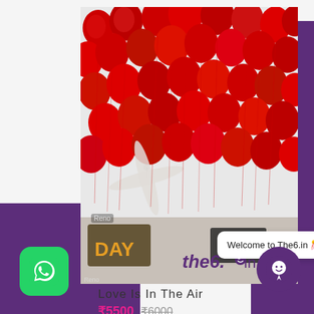[Figure (photo): Room ceiling covered with red heart-shaped and round balloons with strings hanging down, ceiling fan visible in background. The6.in logo/brand visible at bottom right of photo.]
Welcome to The6.in 🎊
Love Is In The Air
₹5500  ₹6000